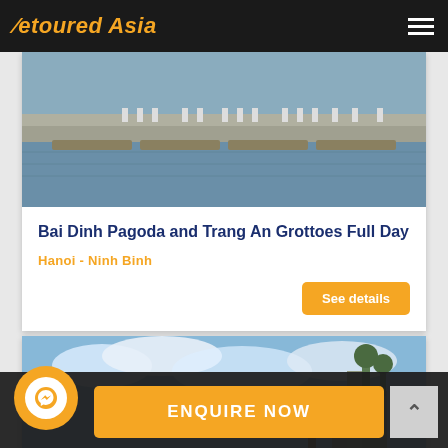Detoured Asia
[Figure (photo): Aerial view of boats on a river with stone steps and people in white clothing]
Bai Dinh Pagoda and Trang An Grottoes Full Day
Hanoi - Ninh Binh
See details
[Figure (photo): Scenic landscape with blue sky, clouds, and rocky mountain formations with a person in the foreground]
ENQUIRE NOW